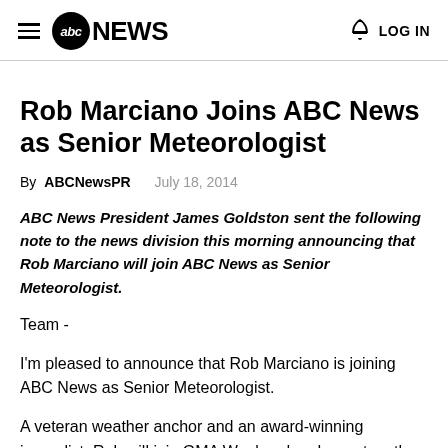abc NEWS  LOG IN
Rob Marciano Joins ABC News as Senior Meteorologist
By ABCNewsPR  July 18, 2014
ABC News President James Goldston sent the following note to the news division this morning announcing that Rob Marciano will join ABC News as Senior Meteorologist.
Team -
I'm pleased to announce that Rob Marciano is joining ABC News as Senior Meteorologist.
A veteran weather anchor and an award-winning journalist, Rob will join GMA Weekend and report on the